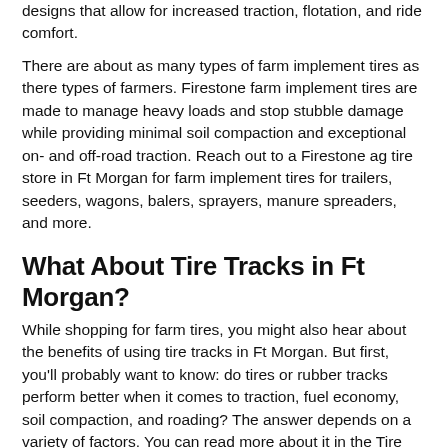designs that allow for increased traction, flotation, and ride comfort.
There are about as many types of farm implement tires as there types of farmers. Firestone farm implement tires are made to manage heavy loads and stop stubble damage while providing minimal soil compaction and exceptional on- and off-road traction. Reach out to a Firestone ag tire store in Ft Morgan for farm implement tires for trailers, seeders, wagons, balers, sprayers, manure spreaders, and more.
What About Tire Tracks in Ft Morgan?
While shopping for farm tires, you might also hear about the benefits of using tire tracks in Ft Morgan. But first, you'll probably want to know: do tires or rubber tracks perform better when it comes to traction, fuel economy, soil compaction, and roading? The answer depends on a variety of factors. You can read more about it in the Tire Expert Center, Rubber Tracks vs. Tires, but what follows is a brief overview. Each system has its advantages. The best system for your Colorado farm will depend on your specific operation. You might even be able to benefit from a combination of tire tracks and tires.